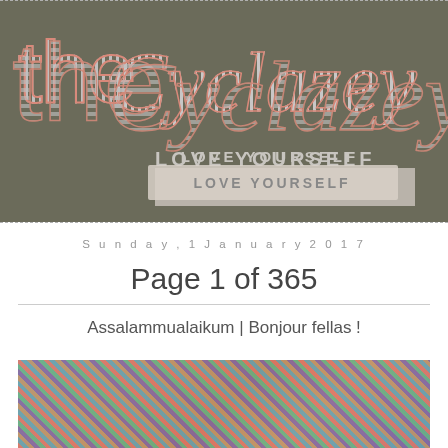[Figure (logo): The Cyclazey blog logo on dark olive/grey background with striped pink/grey lettering. Large 'the' in thin outline and 'Cyclazey' in cursive script, with 'LOVE YOURSELF' text below.]
Sunday, 1 January 2017
Page 1 of 365
Assalammualaikum | Bonjour fellas !
[Figure (photo): Partial photo of colourful woven textile or shoes at bottom of page]